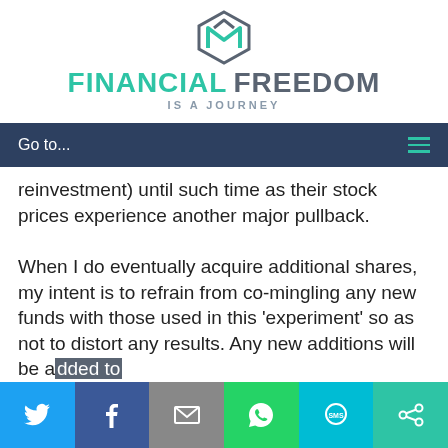[Figure (logo): Financial Freedom Is A Journey logo with geometric icon above text]
Go to...
reinvestment) until such time as their stock prices experience another major pullback.

When I do eventually acquire additional shares, my intent is to refrain from co-mingling any new funds with those used in this 'experiment' so as not to distort any results. Any new additions will be added to
[Figure (infographic): Social share bar with Twitter, Facebook, Email, WhatsApp, SMS, and ShareThis buttons]